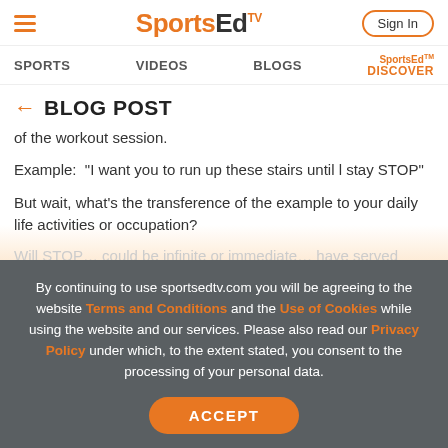SportsEd TV — Sign In
SPORTS   VIDEOS   BLOGS   SportsEd DISCOVER
← BLOG POST
of the workout session.
Example:  "I want you to run up these stairs until l stay STOP"
But wait, what's the transference of the example to your daily life activities or occupation?
Will STOP… could be infinite or immediate… have served
By continuing to use sportsedtv.com you will be agreeing to the website Terms and Conditions and the Use of Cookies while using the website and our services. Please also read our Privacy Policy under which, to the extent stated, you consent to the processing of your personal data.
ACCEPT